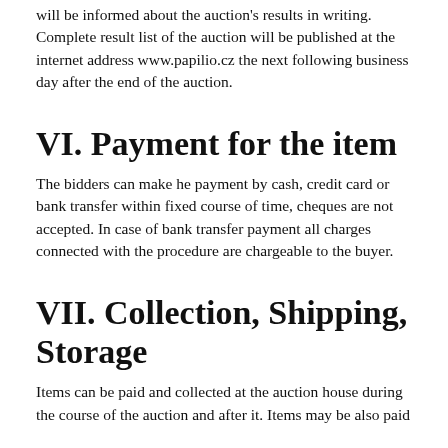will be informed about the auction's results in writing. Complete result list of the auction will be published at the internet address www.papilio.cz the next following business day after the end of the auction.
VI. Payment for the item
The bidders can make he payment by cash, credit card or bank transfer within fixed course of time, cheques are not accepted. In case of bank transfer payment all charges connected with the procedure are chargeable to the buyer.
VII. Collection, Shipping, Storage
Items can be paid and collected at the auction house during the course of the auction and after it. Items may be also paid